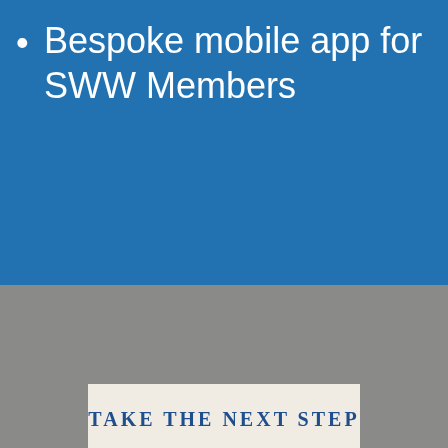• Bespoke mobile app for SWW Members
TAKE THE NEXT STEP
About